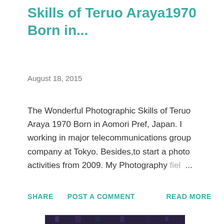Skills of Teruo Araya1970 Born in...
August 18, 2015
The Wonderful Photographic Skills of Teruo Araya 1970 Born in Aomori Pref, Japan. I working in major telecommunications group company at Tokyo. Besides,to start a photo activities from 2009. My Photography fiel ...
SHARE   POST A COMMENT   READ MORE
[Figure (photo): Close-up photograph of a dark-feathered bird (crow or raven) with detailed black and purple plumage and white feather highlights, photographed from above/front.]